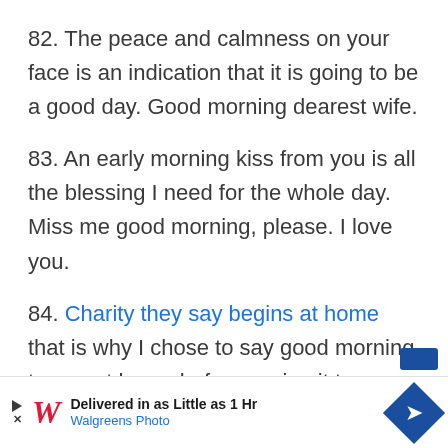82. The peace and calmness on your face is an indication that it is going to be a good day. Good morning dearest wife.
83. An early morning kiss from you is all the blessing I need for the whole day. Miss me good morning, please. I love you.
84. Charity they say begins at home that is why I chose to say good morning to you at home before saying it to anyone else. Good morning my Queen.
[Figure (other): Walgreens Photo advertisement banner: 'Delivered in as Little as 1 Hr' with Walgreens logo and blue diamond arrow icon]